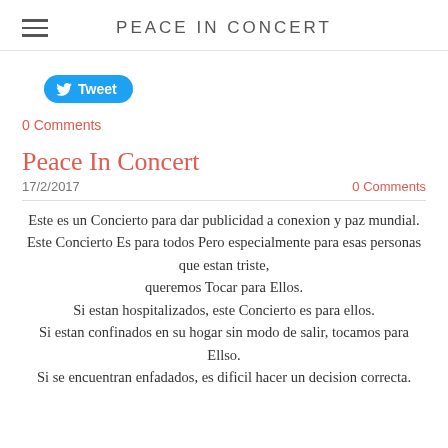PEACE IN CONCERT
[Figure (other): Tweet button with Twitter bird icon]
0 Comments
Peace In Concert
17/2/2017	0 Comments
Este es un Concierto para dar publicidad a conexion y paz mundial. Este Concierto Es para todos Pero especialmente para esas personas que estan triste, queremos Tocar para Ellos. Si estan hospitalizados, este Concierto es para ellos. Si estan confinados en su hogar sin modo de salir, tocamos para Ellso. Si se encuentran enfadados, es dificil hacer un decision correcta.